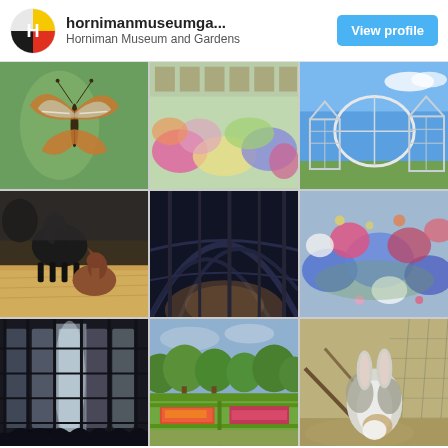hornimanmuseumga... Horniman Museum and Gardens | View profile
[Figure (photo): Close-up of a glasswing butterfly on a green leaf]
[Figure (photo): Colorful flower garden display with tulips and mixed flowers inside a greenhouse]
[Figure (photo): Victorian-style glass and iron conservatory building against a blue sky]
[Figure (photo): Black alpaca with its young sitting on hay]
[Figure (photo): Interior of a dark ornate greenhouse structure with iron framework at dusk]
[Figure (photo): Close-up of colorful flower bed with blue, pink, and red flowers]
[Figure (photo): Interior view of a greenhouse with tall windows and dramatic lighting]
[Figure (photo): Formal garden with colorful flower beds and large trees in background]
[Figure (photo): Rear view of a grey and white rabbit inside an enclosure]